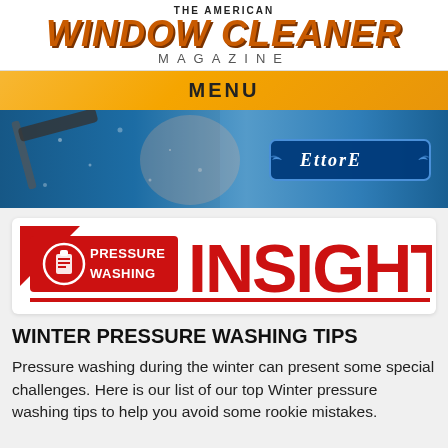The American Window Cleaner Magazine
MENU
[Figure (photo): Window cleaner with squeegee washing a window with water droplets, featuring an Ettore brand logo badge on a blue background]
[Figure (logo): Pressure Washing Insight logo — red rectangle with clipboard icon, bold white text 'PRESSURE WASHING' on left and large 'INSIGHT' on right in red with red underline]
WINTER PRESSURE WASHING TIPS
Pressure washing during the winter can present some special challenges. Here is our list of our top Winter pressure washing tips to help you avoid some rookie mistakes.